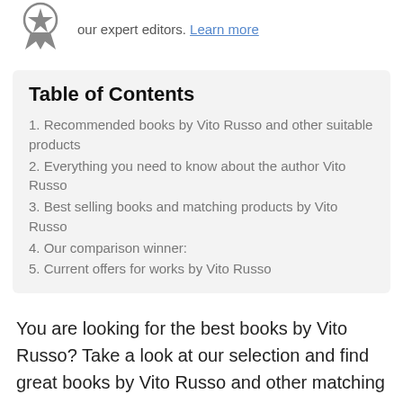our expert editors. Learn more
Table of Contents
1. Recommended books by Vito Russo and other suitable products
2. Everything you need to know about the author Vito Russo
3. Best selling books and matching products by Vito Russo
4. Our comparison winner:
5. Current offers for works by Vito Russo
You are looking for the best books by Vito Russo? Take a look at our selection and find great books by Vito Russo and other matching